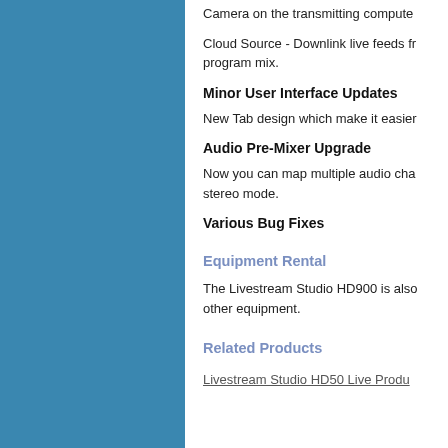Camera on the transmitting computer
Cloud Source - Downlink live feeds fr... program mix.
Minor User Interface Updates
New Tab design which make it easier
Audio Pre-Mixer Upgrade
Now you can map multiple audio cha... stereo mode.
Various Bug Fixes
Equipment Rental
The Livestream Studio HD900 is also... other equipment.
Related Products
Livestream Studio HD50 Live Produ...